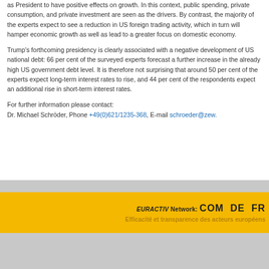as President to have positive effects on growth. In this context, public spending, private consumption, and private investment are seen as the drivers. By contrast, the majority of the experts expect to see a reduction in US foreign trading activity, which in turn will hamper economic growth as well as lead to a greater focus on domestic economy.
Trump's forthcoming presidency is clearly associated with a negative development of US national debt: 66 per cent of the surveyed experts forecast a further increase in the already high US government debt level. It is therefore not surprising that around 50 per cent of the experts expect long-term interest rates to rise, and 44 per cent of the respondents expect an additional rise in short-term interest rates.
For further information please contact:
Dr. Michael Schröder, Phone +49(0)621/1235-368, E-mail schroeder@zew.
EURACTIV Network: COM DE FR
Efficacité et transparence des acteurs européens